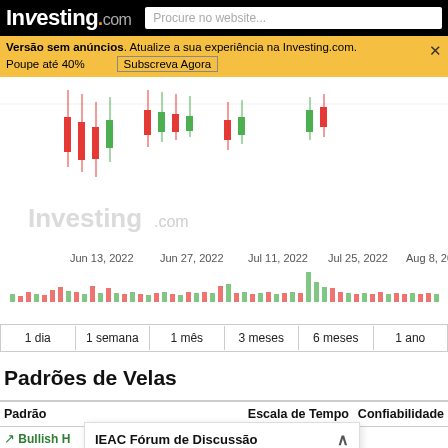Investing.com | Procure no website...
Versão sem anúncios. Atualize a sua experiência na Investing.com. Poupe até 40%   Subscreva Agora ×
[Figure (continuous-plot): Candlestick chart with volume bars below, showing price data from Jun 13, 2022 to Aug 8, 2022. Red and green candles visible in upper panel; red and green volume bars in lower panel. Investing.com watermark visible.]
Jun 13, 2022   Jun 27, 2022   Jul 11, 2022   Jul 25, 2022   Aug 8, 2022
| 1 dia | 1 semana | 1 mês | 3 meses | 6 meses | 1 ano |
| --- | --- | --- | --- | --- | --- |
Padrões de Velas
| Padrão | Escala de Tempo | Confiabilidade |
| --- | --- | --- |
| Bullish H |  |  |
IEAC Fórum de Discussão